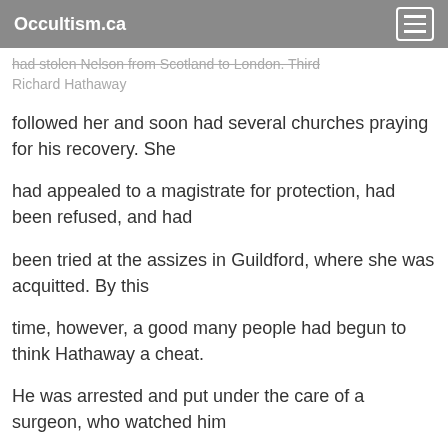Occultism.ca
had stolen Nelson from Scotland to London. Third Richard Hathaway
followed her and soon had several churches praying for his recovery. She
had appealed to a magistrate for protection, had been refused, and had
been tried at the assizes in Guildford, where she was acquitted. By this
time, however, a good many people had begun to think Hathaway a cheat.
He was arrested and put under the care of a surgeon, who watched him